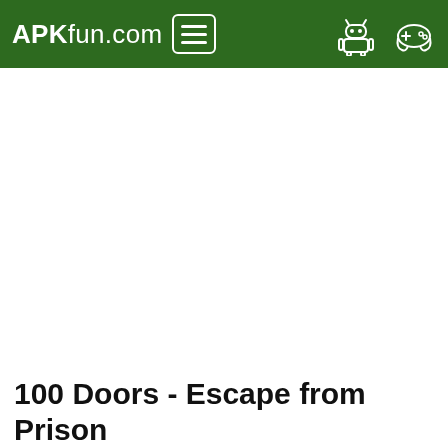APKfun.com
100 Doors - Escape from Prison